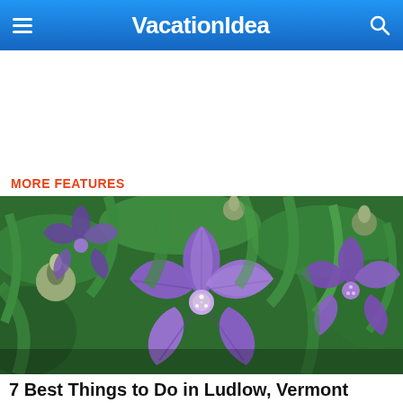VacationIdea
MORE FEATURES
[Figure (photo): Close-up of vivid purple star-shaped flowers (balloon flowers / Platycodon) with green leaves and buds in the background]
7 Best Things to Do in Ludlow, Vermont